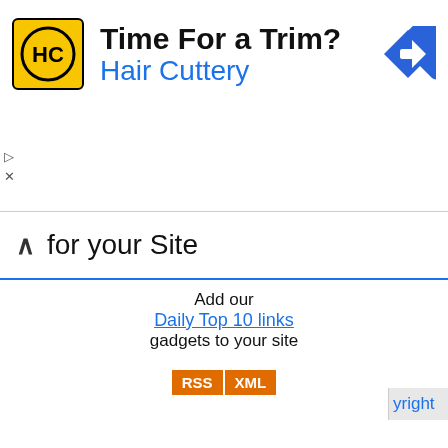[Figure (infographic): Hair Cuttery advertisement banner with yellow logo showing HC initials, text 'Time For a Trim?' and 'Hair Cuttery' in blue, with a blue navigation arrow icon on the right. Play and close controls at bottom left of ad.]
for your Site
Add our
Daily Top 10 links
gadgets to your site
[Figure (other): RSS and XML orange buttons side by side]
Cookies help us to deliver our services. By using these services, you agree to the use of cookies on our part.  MORE INFO
ACCEPT
yright